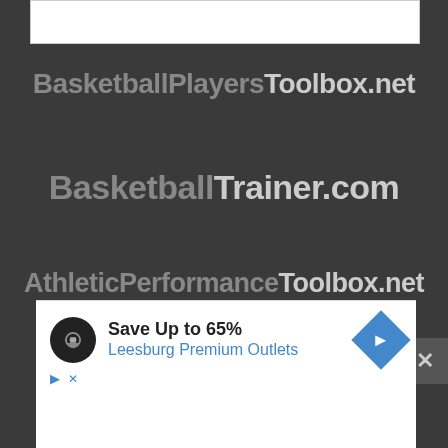[Figure (screenshot): White bar at top of dark background, representing a UI element or header area]
BasketballPlayersToolbox.net
BasketballTrainer.com
AthleticPerformanceToolbox.net
Coaching Basketballrg
[Figure (screenshot): Advertisement overlay showing 'Save Up to 65% Leesburg Premium Outlets' with a dark circular logo with chain links icon, a blue diamond navigation arrow icon, and blue play/close icons at bottom left]